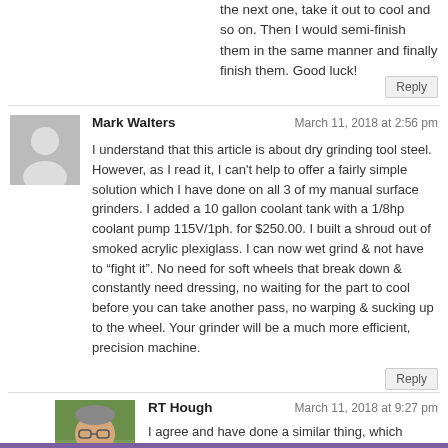the next one, take it out to cool and so on. Then I would semi-finish them in the same manner and finally finish them. Good luck!
Reply
Mark Walters
March 11, 2018 at 2:56 pm
I understand that this article is about dry grinding tool steel. However, as I read it, I can't help to offer a fairly simple solution which I have done on all 3 of my manual surface grinders. I added a 10 gallon coolant tank with a 1/8hp coolant pump 115V/1ph. for $250.00. I built a shroud out of smoked acrylic plexiglass. I can now wet grind & not have to “fight it”. No need for soft wheels that break down & constantly need dressing, no waiting for the part to cool before you can take another pass, no warping & sucking up to the wheel. Your grinder will be a much more efficient, precision machine.
Reply
RT Hough
March 11, 2018 at 9:27 pm
I agree and have done a similar thing, which definitely helps. D2 is still just plain nasty stuff! It makes other tool steels look easy.